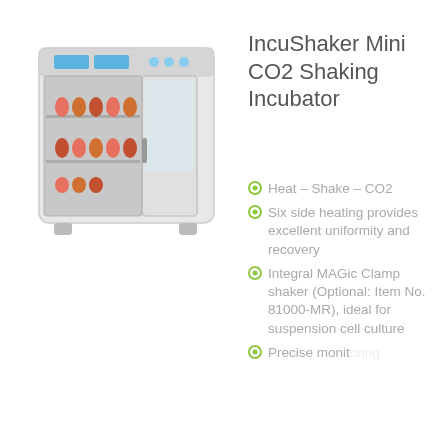[Figure (photo): IncuShaker Mini CO2 Shaking Incubator device with open door showing flasks inside, front view]
IncuShaker Mini CO2 Shaking Incubator
Heat – Shake – CO2
Six side heating provides excellent uniformity and recovery
Integral MAGic Clamp shaker (Optional: Item No. 81000-MR), ideal for suspension cell culture
Precise monitoring...